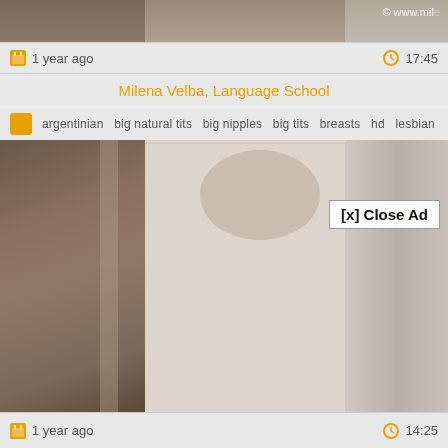[Figure (screenshot): Top portion of a video thumbnail showing blurred content with watermark 'www.mil...' in top right corner]
1 year ago    17:45
Milena Velba, Language School
argentinian  big natural tits  big nipples  big tits  breasts  hd  lesbian
[Figure (screenshot): Video player showing blurred/censored video content with overlay ad showing '[x] Close Ad' button]
1 year ago    14:25